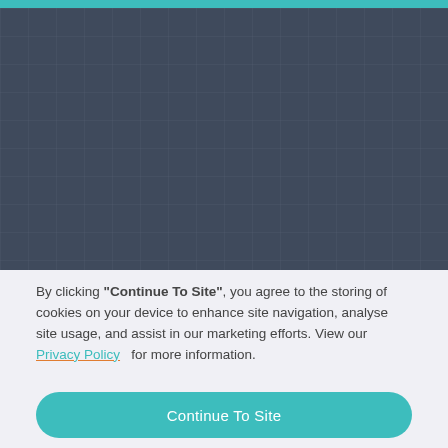[Figure (screenshot): Dark blue-grey grid background with teal top bar, representing a website background with a cookie consent overlay]
By clicking "Continue To Site", you agree to the storing of cookies on your device to enhance site navigation, analyse site usage, and assist in our marketing efforts. View our Privacy Policy   for more information.
Continue To Site